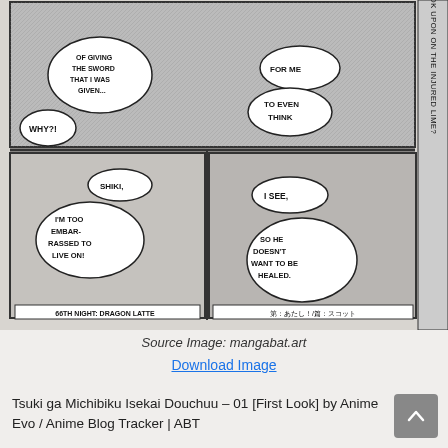[Figure (illustration): Manga page panels showing characters with speech bubbles. Top panel: characters with dialogue 'OF GIVING THE SWORD THAT I WAS GIVEN...', 'FOR ME', 'WHY?!', 'TO EVEN THINK'. Bottom left panel: character on ground with speech bubbles 'SHIKI,', 'I'M TOO EMBAR-RASSED TO LIVE ON!', caption '66TH NIGHT: DRAGON LATTE'. Bottom right panel: female character in profile with speech bubbles 'I SEE,', 'SO HE DOESN'T WANT TO BE HEALED.' Vertical text on right edge reads 'THINKING AS THEY LOOK UPON ON THE INJURED LIME?']
Source Image: mangabat.art
Download Image
Tsuki ga Michibiku Isekai Douchuu – 01 [First Look] by Anime Evo / Anime Blog Tracker | ABT